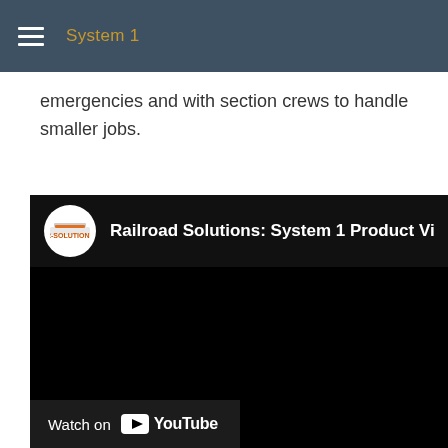System 1
emergencies and with section crews to handle smaller jobs.
[Figure (screenshot): YouTube video embed showing 'Railroad Solutions: System 1 Product Video' with R-Solutions logo, black video area, and Watch on YouTube button at bottom.]